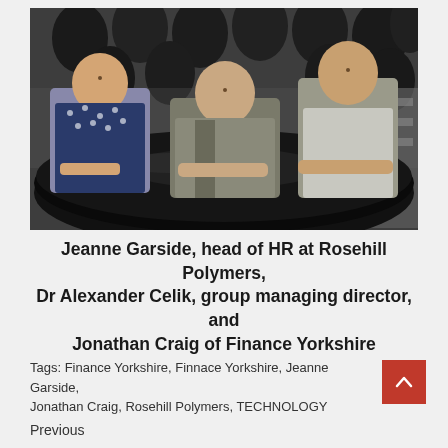[Figure (photo): Three people (two men and one woman) leaning on large black industrial drums/containers in a warehouse or factory setting. The woman is on the left wearing a dark patterned blouse, a bald man is in the center wearing a grey jacket, and a taller man is on the right wearing a light grey shirt.]
Jeanne Garside, head of HR at Rosehill Polymers, Dr Alexander Celik, group managing director, and Jonathan Craig of Finance Yorkshire
Tags: Finance Yorkshire, Finnace Yorkshire, Jeanne Garside, Jonathan Craig, Rosehill Polymers, TECHNOLOGY
Previous